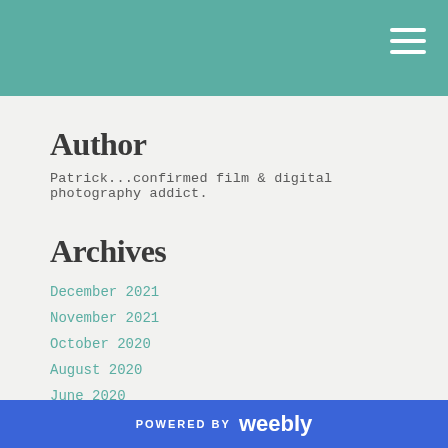Author
Patrick...confirmed film & digital photography addict.
Archives
December 2021
November 2021
October 2020
August 2020
June 2020
May 2020
April 2020
December 2019
November 2019
October 2019
POWERED BY weebly